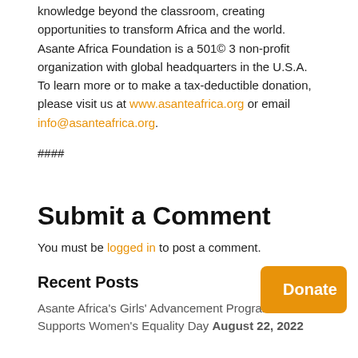knowledge beyond the classroom, creating opportunities to transform Africa and the world. Asante Africa Foundation is a 501© 3 non-profit organization with global headquarters in the U.S.A. To learn more or to make a tax-deductible donation, please visit us at www.asanteafrica.org or email info@asanteafrica.org.
####
Submit a Comment
You must be logged in to post a comment.
Recent Posts
Asante Africa's Girls' Advancement Program Supports Women's Equality Day August 22, 2022